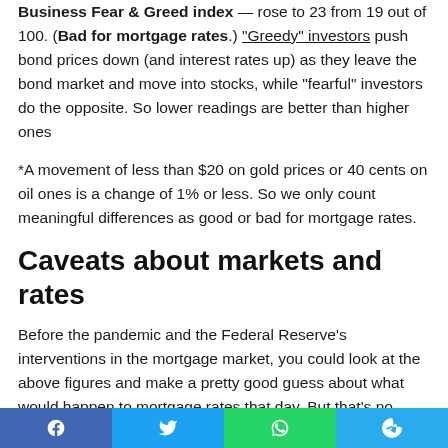Business Fear & Greed index — rose to 23 from 19 out of 100. (Bad for mortgage rates.) "Greedy" investors push bond prices down (and interest rates up) as they leave the bond market and move into stocks, while "fearful" investors do the opposite. So lower readings are better than higher ones
*A movement of less than $20 on gold prices or 40 cents on oil ones is a change of 1% or less. So we only count meaningful differences as good or bad for mortgage rates.
Caveats about markets and rates
Before the pandemic and the Federal Reserve's interventions in the mortgage market, you could look at the above figures and make a pretty good guess about what would happen to mortgage rates that day. But that's no longer the case. We still